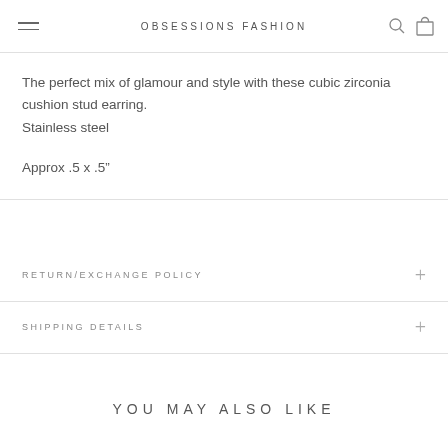OBSESSIONS FASHION
The perfect mix of glamour and style with these cubic zirconia cushion stud earring.
Stainless steel

Approx .5 x .5″
RETURN/EXCHANGE POLICY
SHIPPING DETAILS
YOU MAY ALSO LIKE